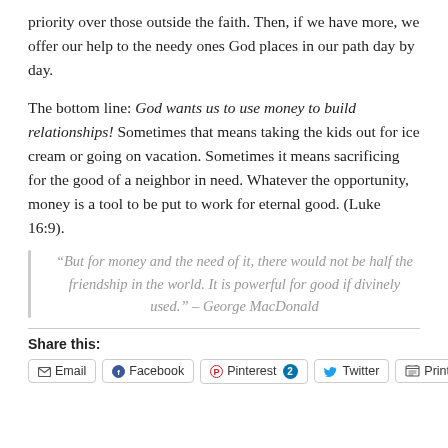priority over those outside the faith. Then, if we have more, we offer our help to the needy ones God places in our path day by day.
The bottom line: God wants us to use money to build relationships! Sometimes that means taking the kids out for ice cream or going on vacation. Sometimes it means sacrificing for the good of a neighbor in need. Whatever the opportunity, money is a tool to be put to work for eternal good. (Luke 16:9).
“But for money and the need of it, there would not be half the friendship in the world. It is powerful for good if divinely used.” – George MacDonald
Share this:
Email | Facebook | Pinterest 2 | Twitter | Print